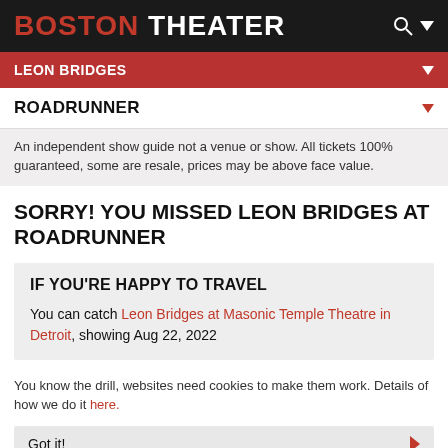BOSTON THEATER
LEON BRIDGES
ROADRUNNER
An independent show guide not a venue or show. All tickets 100% guaranteed, some are resale, prices may be above face value.
SORRY! YOU MISSED LEON BRIDGES AT ROADRUNNER
IF YOU'RE HAPPY TO TRAVEL
You can catch Leon Bridges at Masonic Temple Theatre in Detroit, showing Aug 22, 2022
You know the drill, websites need cookies to make them work. Details of how we do it here.
Got it!